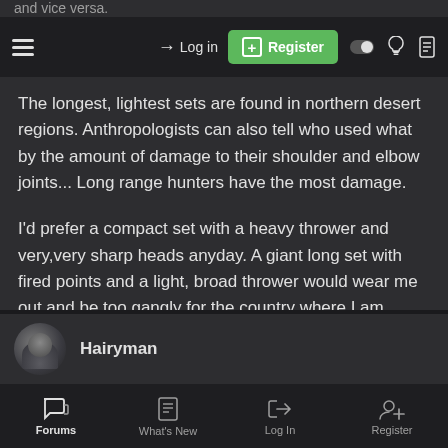and vice versa.
Log in | Register
The longest, lightest sets are found in northern desert regions. Anthropologists can also tell who used what by the amount of damage to their shoulder and elbow joints... Long range hunters have the most damage.
I'd prefer a compact set with a heavy thrower and very,very sharp heads anyday. A giant long set with fired points and a light, broad thrower would wear me out and be too gangly for the country where I am.
I've had decent accuracy with a thrower the lengths of from my elbow to my fingertips, a fat grip, and three foot x 10mm spears.
Hairyman
Forums | What's New | Log In | Register